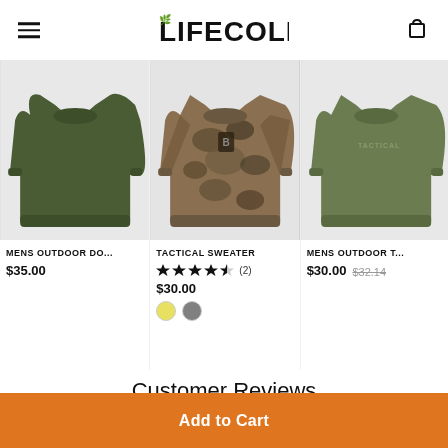LIFECOLI
[Figure (photo): Olive green crewneck sweatshirt on white background]
MENS OUTDOOR DO...
$35.00
[Figure (photo): Camouflage tactical sweater on white background]
TACTICAL SWEATER
4.5 stars (2)
$30.00
[Figure (photo): Olive green Tactical crewneck sweatshirt on white background]
MENS OUTDOOR T...
$30.00  $32.14
Customer Reviews
Add to Cart